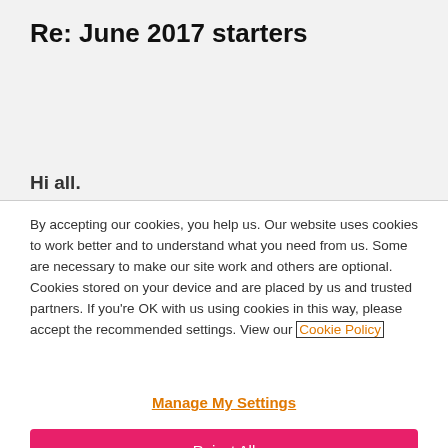Re: June 2017 starters
Hi all.
By accepting our cookies, you help us. Our website uses cookies to work better and to understand what you need from us. Some are necessary to make our site work and others are optional. Cookies stored on your device and are placed by us and trusted partners. If you're OK with us using cookies in this way, please accept the recommended settings. View our Cookie Policy
Manage My Settings
Reject All
Accept All Cookies